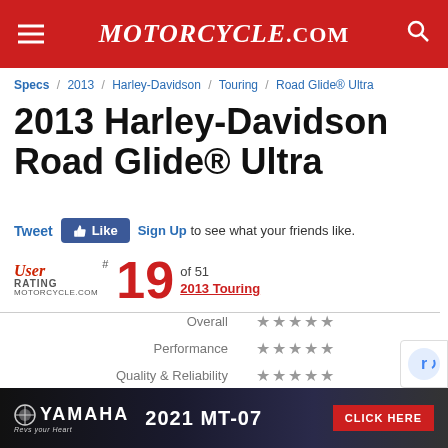MOTORCYCLE.COM
Specs / 2013 / Harley-Davidson / Touring / Road Glide® Ultra
2013 Harley-Davidson Road Glide® Ultra
Tweet  Like  Sign Up to see what your friends like.
User RATING MOTORCYCLE.COM # 19 of 51 2013 Touring
| Category | Rating |
| --- | --- |
| Overall | ★★★★★ |
| Performance | ★★★★★ |
| Quality & Reliability | ★★★★★ |
| Ride & Comfort | ★★★★★ |
| Value | ★★★★★ |
[Figure (advertisement): Yamaha 2021 MT-07 advertisement banner with CLICK HERE button]